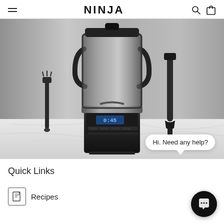NINJA
[Figure (photo): A Ninja blender with a large transparent pitcher on a brushed silver background and white marble countertop, accompanied by a cleaning brush and tamper tool. A chat bubble saying 'Hi. Need any help?' appears in the bottom right corner of the image.]
Quick Links
Recipes